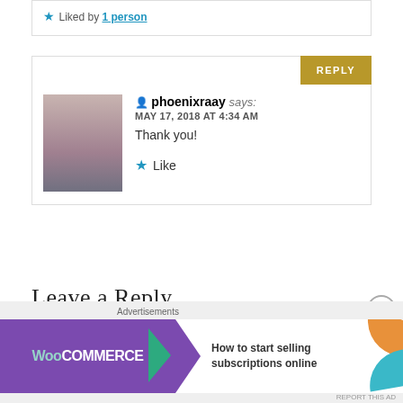Liked by 1 person
phoenixraay says:
MAY 17, 2018 AT 4:34 AM
Thank you!
Like
Leave a Reply
Your email address will not be published. Required fields are marked *
Comment *
[Figure (screenshot): WooCommerce advertisement banner: How to start selling subscriptions online]